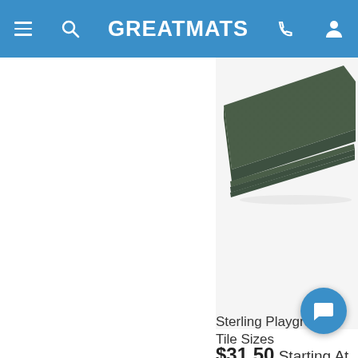GREATMATS
[Figure (photo): Green rubber playground tiles stacked at an angle, top-right area of page]
Sterling Playground Tile Sizes
$31.50 Starting At
[Figure (photo): Playground equipment with vertical posts visible at bottom right]
[Figure (other): Blue circular chat button with speech bubble icon]